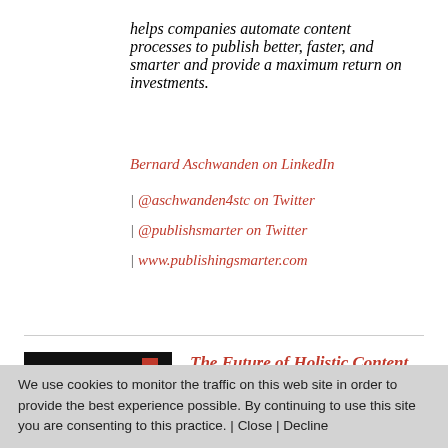helps companies automate content processes to publish better, faster, and smarter and provide a maximum return on investments.
Bernard Aschwanden on LinkedIn
| @aschwanden4stc on Twitter
| @publishsmarter on Twitter
| www.publishingsmarter.com
[Figure (photo): Thumbnail image with a man's face and text 'The Future of Holistic Content Experiences is Here' on a dark background with a red accent.]
The Future of Holistic Content Experiences is Here
$0.00
We use cookies to monitor the traffic on this web site in order to provide the best experience possible. By continuing to use this site you are consenting to this practice. | Close | Decline